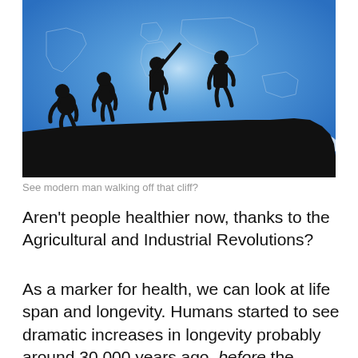[Figure (illustration): Classic human evolution march image showing silhouettes progressing from ape to modern man, with the final modern human figure walking off the edge of a cliff. Blue sky with faint world map background and clouds.]
See modern man walking off that cliff?
Aren't people healthier now, thanks to the Agricultural and Industrial Revolutions?
As a marker for health, we can look at life span and longevity. Humans started to see dramatic increases in longevity probably around 30,000 years ago, before the